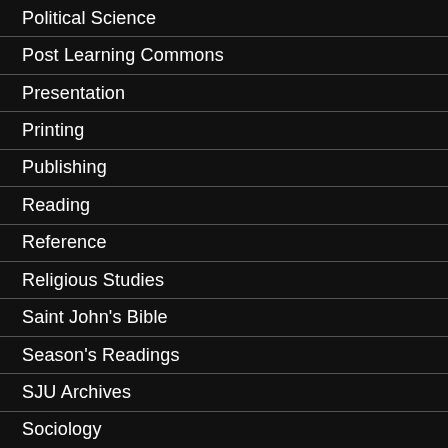Political Science
Post Learning Commons
Presentation
Printing
Publishing
Reading
Reference
Religious Studies
Saint John's Bible
Season's Readings
SJU Archives
Sociology